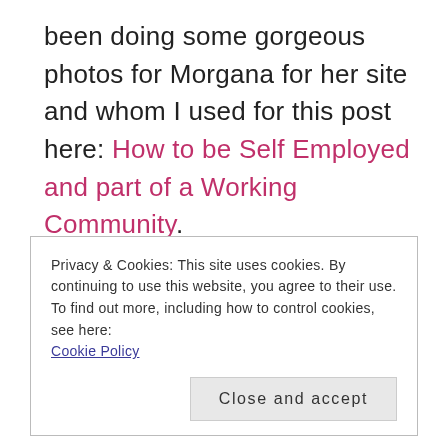been doing some gorgeous photos for Morgana for her site and whom I used for this post here: How to be Self Employed and part of a Working Community.
Privacy & Cookies: This site uses cookies. By continuing to use this website, you agree to their use. To find out more, including how to control cookies, see here: Cookie Policy  Close and accept